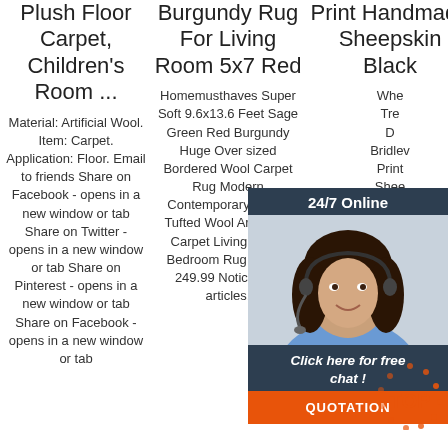Plush Floor Carpet, Children's Room ...
Material: Artificial Wool. Item: Carpet. Application: Floor. Email to friends Share on Facebook - opens in a new window or tab Share on Twitter - opens in a new window or tab Share on Pinterest - opens in a new window or tab Share on Facebook - opens in a new window or tab
Burgundy Rug For Living Room 5x7 Red
Homemusthaves Super Soft 9.6x13.6 Feet Sage Green Red Burgundy Huge Over sized Bordered Wool Carpet Rug Modern Contemporary Hand-Tufted Wool Area Rug Carpet Living Room Bedroom Rug Carpet 249.99 Notice:The articles,
Print Handmade Sheepskin Black
When Tre D Bridlev Print Shee Whit onl Wayfai as easy for you to find out when your product will be delivered. Read customer reviews and common Questions
[Figure (other): Live chat widget with 24/7 Online header, agent photo, 'Click here for free chat!' text, and QUOTATION button]